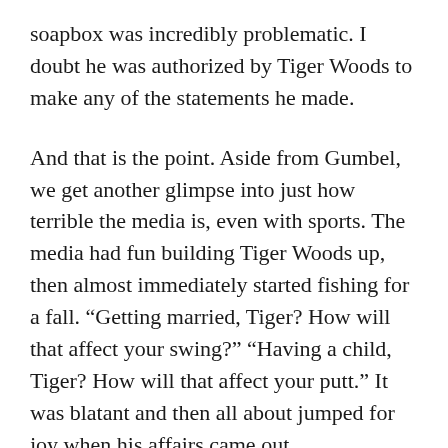soapbox was incredibly problematic. I doubt he was authorized by Tiger Woods to make any of the statements he made.
And that is the point. Aside from Gumbel, we get another glimpse into just how terrible the media is, even with sports. The media had fun building Tiger Woods up, then almost immediately started fishing for a fall. “Getting married, Tiger? How will that affect your swing?” “Having a child, Tiger? How will that affect your putt.” It was blatant and then all about jumped for joy when his affairs came out.